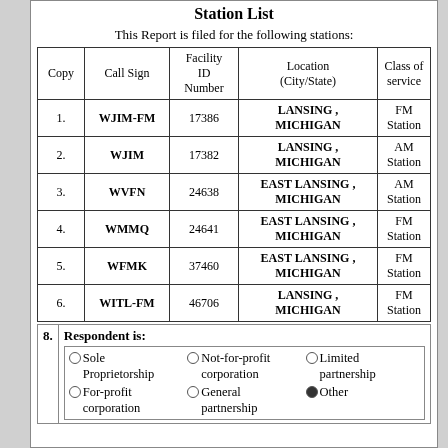Station List
This Report is filed for the following stations:
| Copy | Call Sign | Facility ID Number | Location (City/State) | Class of service |
| --- | --- | --- | --- | --- |
| 1. | WJIM-FM | 17386 | LANSING , MICHIGAN | FM Station |
| 2. | WJIM | 17382 | LANSING , MICHIGAN | AM Station |
| 3. | WVFN | 24638 | EAST LANSING , MICHIGAN | AM Station |
| 4. | WMMQ | 24641 | EAST LANSING , MICHIGAN | FM Station |
| 5. | WFMK | 37460 | EAST LANSING , MICHIGAN | FM Station |
| 6. | WITL-FM | 46706 | LANSING , MICHIGAN | FM Station |
8. Respondent is:
Sole Proprietorship (unchecked)
Not-for-profit corporation (unchecked)
Limited partnership (unchecked)
For-profit corporation (unchecked)
General partnership (unchecked)
Other (checked)